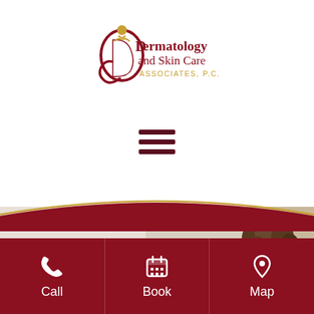[Figure (logo): Dermatology and Skin Care Associates, P.C. logo with stylized D/Q monogram in dark red and gold]
[Figure (other): Hamburger menu icon (three horizontal dark red lines)]
[Figure (photo): Photo of a person with curly hair wearing dark protective goggles and white coat, undergoing or performing laser treatment]
Laser Treatments
[Figure (infographic): Bottom navigation bar with three sections: Call (phone icon), Book (calendar icon), Map (location pin icon) on dark red background]